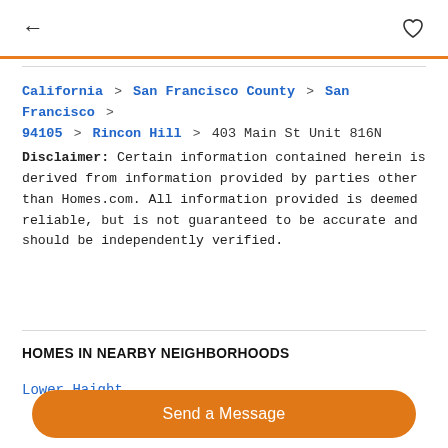← ♡
California > San Francisco County > San Francisco 94105 > Rincon Hill > 403 Main St Unit 816N
Disclaimer: Certain information contained herein is derived from information provided by parties other than Homes.com. All information provided is deemed reliable, but is not guaranteed to be accurate and should be independently verified.
HOMES IN NEARBY NEIGHBORHOODS
Lower Haight
Send a Message